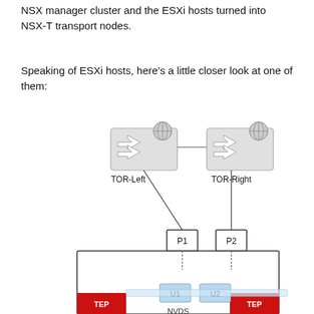NSX manager cluster and the ESXi hosts turned into NSX-T transport nodes.
Speaking of ESXi hosts, here's a little closer look at one of them:
[Figure (network-graph): Network diagram showing two TOR switches (TOR-Left and TOR-Right) connected to each other at the top, each connected down to physical ports P1 and P2, which connect into a host box containing uplink ports U1 and U2 with TEP (red) blocks on each side and NVDS label at bottom.]